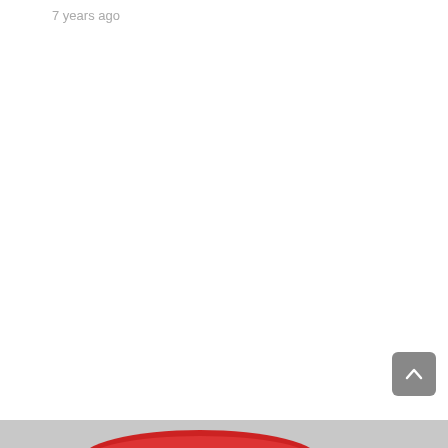7 years ago
[Figure (screenshot): Scroll-to-top button with upward arrow icon, gray rounded rectangle]
[Figure (photo): Partial image visible at the bottom edge of the page, showing a curved red shape on a gray/white background]